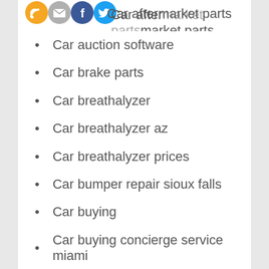[Figure (illustration): Four social media icons: RSS (orange), email/envelope (gray), Facebook (blue), Twitter (blue), partially cropped at top of page]
Car aftermarket parts
Car auction software
Car brake parts
Car breathalyzer
Car breathalyzer az
Car breathalyzer prices
Car bumper repair sioux falls
Car buying
Car buying concierge service miami
Car buying service
Car buying tips
Car care services